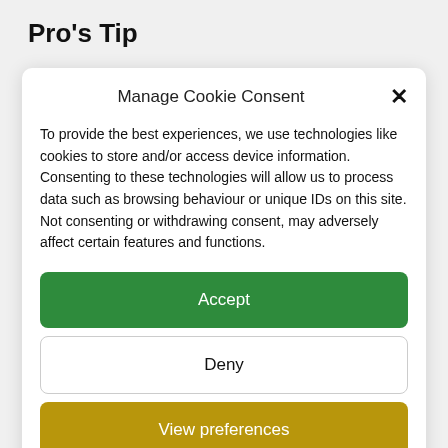Pro's Tip
Manage Cookie Consent
To provide the best experiences, we use technologies like cookies to store and/or access device information. Consenting to these technologies will allow us to process data such as browsing behaviour or unique IDs on this site. Not consenting or withdrawing consent, may adversely affect certain features and functions.
Accept
Deny
View preferences
Privacy Statement